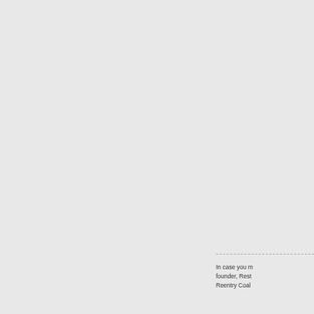[Figure (screenshot): Small thumbnail image of a document with dark background, yellow and red horizontal bars, and text lines]
In case you m founder, Rest Reentry Coal